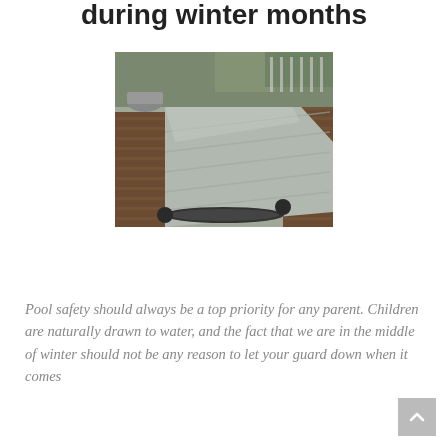during winter months
[Figure (photo): A swimming pool covered with a grey safety cover, surrounded by wooden decking. A roller mechanism is visible at one end of the cover.]
Pool safety should always be a top priority for any parent. Children are naturally drawn to water, and the fact that we are in the middle of winter should not be any reason to let your guard down when it comes